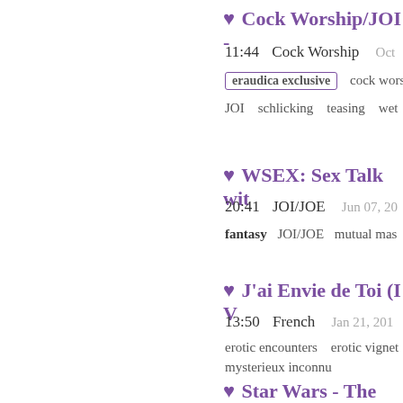♥ Cock Worship/JOI -
11:44   Cock Worship   Oct
eraudica exclusive   cock worsh
JOI   schlicking   teasing   wet
♥ WSEX: Sex Talk wit
20:41   JOI/JOE   Jun 07, 20
fantasy   JOI/JOE   mutual mas
♥ J'ai Envie de Toi (I V
13:50   French   Jan 21, 201
erotic encounters   erotic vignet
mysterieux inconnu
♥ Star Wars - The Clo